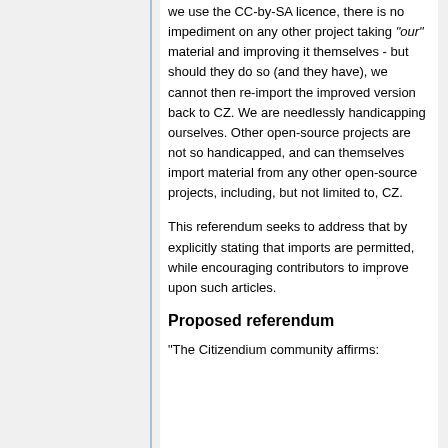we use the CC-by-SA licence, there is no impediment on any other project taking "our" material and improving it themselves - but should they do so (and they have), we cannot then re-import the improved version back to CZ. We are needlessly handicapping ourselves. Other open-source projects are not so handicapped, and can themselves import material from any other open-source projects, including, but not limited to, CZ.
This referendum seeks to address that by explicitly stating that imports are permitted, while encouraging contributors to improve upon such articles.
Proposed referendum
"The Citizendium community affirms: